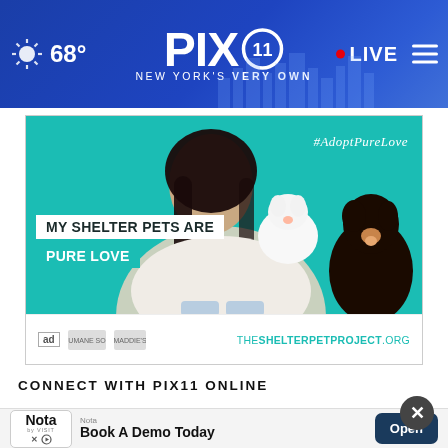68° PIX11 NEW YORK'S VERY OWN LIVE
[Figure (photo): Advertisement from The Shelter Pet Project: woman holding a small white dog with a larger black and tan dog beside her on a teal background. Text reads 'MY SHELTER PETS ARE PURE LOVE' and '#AdoptPureLove'. Footer shows logos and THESHELTERPETPROJECT.ORG]
CONNECT WITH PIX11 ONLINE
[Figure (screenshot): Bottom advertisement banner: Nota app promotion reading 'Book A Demo Today' with Open button, on gray background]
[Figure (other): Close/dismiss button (X) overlaid on bottom ad area]